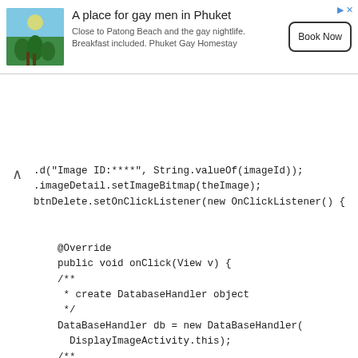[Figure (screenshot): Advertisement banner: A place for gay men in Phuket. Close to Patong Beach and the gay nightlife. Breakfast included. Phuket Gay Homestay. Book Now button.]
.d("Image ID:****", String.valueOf(imageId));
.imageDetail.setImageBitmap(theImage);
btnDelete.setOnClickListener(new OnClickListener() {

    @Override
    public void onClick(View v) {
    /**
     * create DatabaseHandler object
     */
    DataBaseHandler db = new DataBaseHandler(
      DisplayImageActivity.this);
    /**
     * Deleting records from database
     */
    Log.d("Delete Image: ", "Deleting.....");
    db.deleteContact(new Contact(imageId));
    // /after deleting data go to main page
    Intent i = new Intent(DisplayImageActivity.this,
      SQLiteDemoActivity.class);
    startActivity(i);